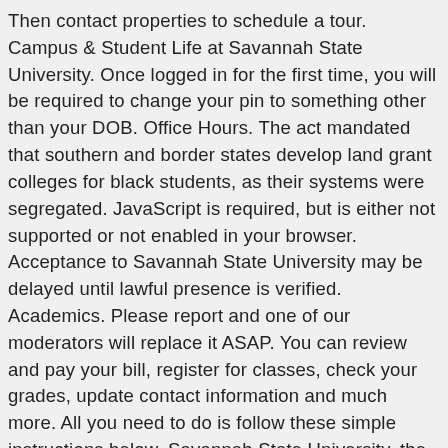Then contact properties to schedule a tour. Campus & Student Life at Savannah State University. Once logged in for the first time, you will be required to change your pin to something other than your DOB. Office Hours. The act mandated that southern and border states develop land grant colleges for black students, as their systems were segregated. JavaScript is required, but is either not supported or not enabled in your browser. Acceptance to Savannah State University may be delayed until lawful presence is verified. Academics. Please report and one of our moderators will replace it ASAP. You can review and pay your bill, register for classes, check your grades, update contact information and much more. All you need to do is follow these simple instructions below. Savannah State University, the oldest public historically black university in the state of Georgia, develops productive members of a global society through high... quality instruction, scholarship, research, service and community involvement. The Division of University Advancement (DUA) communicates the strategic objectives of Savannah State